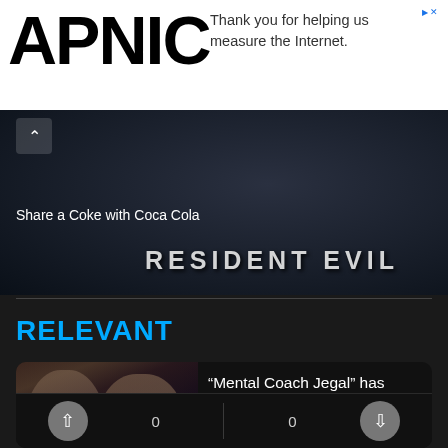[Figure (screenshot): APNIC website header with ad bar saying 'Thank you for helping us measure the Internet.']
[Figure (photo): Banner image showing dark background with 'Share a Coke with Coca Cola' and 'RESIDENT EVIL' text overlay]
RELEVANT
[Figure (photo): Card thumbnail showing two people facing each other in close-up from Korean drama]
“Mental Coach Jegal” has shared a new teaser
VuTung    August 23, 2022
Movies    💬 0
0    0